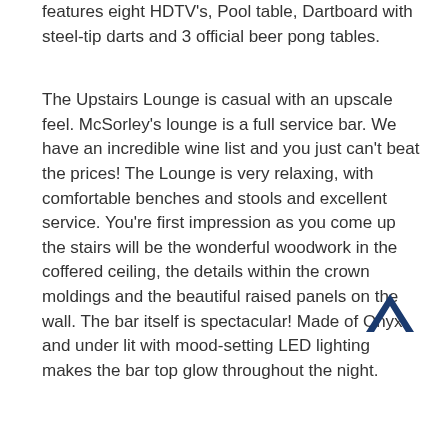features eight HDTV's, Pool table, Dartboard with steel-tip darts and 3 official beer pong tables.
The Upstairs Lounge is casual with an upscale feel. McSorley's lounge is a full service bar. We have an incredible wine list and you just can't beat the prices! The Lounge is very relaxing, with comfortable benches and stools and excellent service. You're first impression as you come up the stairs will be the wonderful woodwork in the coffered ceiling, the details within the crown moldings and the beautiful raised panels on the wall. The bar itself is spectacular! Made of Onyx and under lit with mood-setting LED lighting makes the bar top glow throughout the night.
[Figure (other): Dark blue upward-pointing chevron/caret arrow icon]